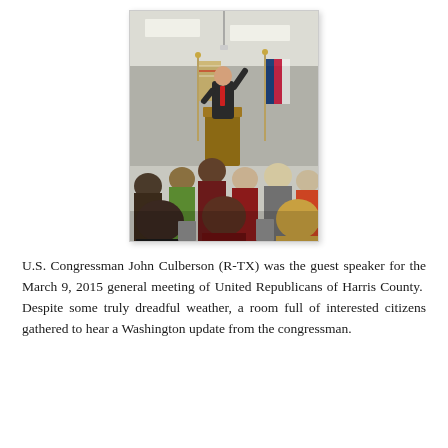[Figure (photo): A man in a dark suit with a red tie stands at a podium speaking, with one hand raised. Two flags (one appearing to be the Texas state flag) are visible behind him. An audience of people seated in chairs is visible from behind in the foreground, in a fluorescent-lit meeting room.]
U.S. Congressman John Culberson (R-TX) was the guest speaker for the March 9, 2015 general meeting of United Republicans of Harris County.  Despite some truly dreadful weather, a room full of interested citizens gathered to hear a Washington update from the congressman.